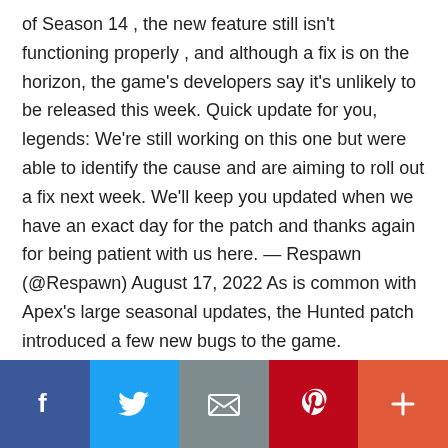of Season 14 , the new feature still isn't functioning properly , and although a fix is on the horizon, the game's developers say it's unlikely to be released this week. Quick update for you, legends: We're still working on this one but were able to identify the cause and are aiming to roll out a fix next week. We'll keep you updated when we have an exact day for the patch and thanks again for being patient with us here. — Respawn (@Respawn) August 17, 2022 As is common with Apex's large seasonal updates, the Hunted patch introduced a few new bugs to the game. Compared to some of last season's bugs , most of the new ones are …
[Read more...]
[Figure (other): Social sharing bar with Facebook, Twitter, Email, Pinterest, and Plus buttons]